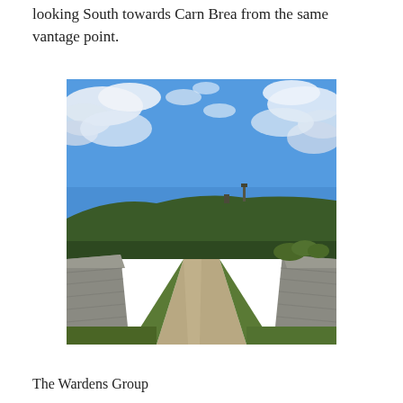looking South towards Carn Brea from the same vantage point.
[Figure (photo): A rural dirt track/lane running towards a hill with a monument or tower on top (Carn Brea), flanked by stone walls on either side with vegetation. Large blue sky with scattered white clouds above a green hilltop.]
The Wardens Group